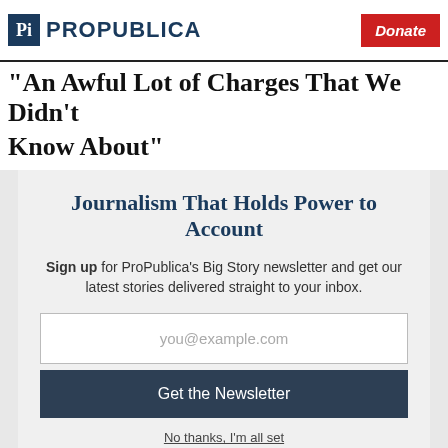ProPublica | Donate
“An Awful Lot of Charges That We Didn’t Know About”
Journalism That Holds Power to Account
Sign up for ProPublica’s Big Story newsletter and get our latest stories delivered straight to your inbox.
you@example.com
Get the Newsletter
No thanks, I’m all set
This site is protected by reCAPTCHA and the Google Privacy Policy and Terms of Service apply.